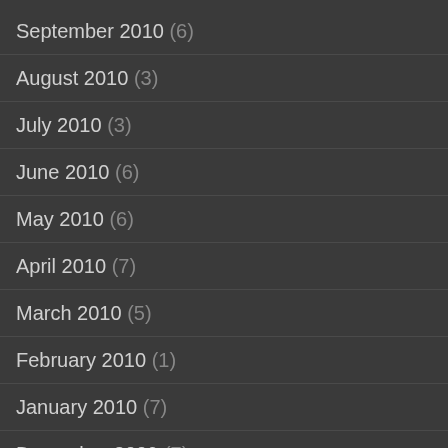September 2010 (6)
August 2010 (3)
July 2010 (3)
June 2010 (6)
May 2010 (6)
April 2010 (7)
March 2010 (5)
February 2010 (1)
January 2010 (7)
December 2009 (7)
November 2009 (4)
October 2009 (4)
September 2009 (2)